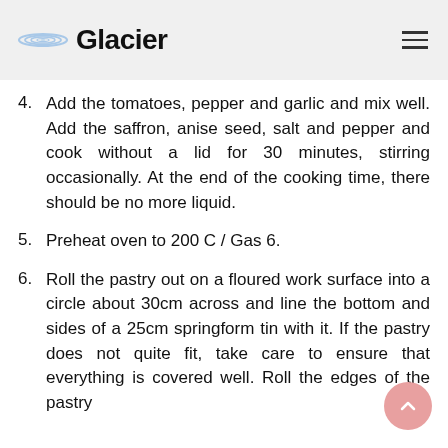Glacier
4. Add the tomatoes, pepper and garlic and mix well. Add the saffron, anise seed, salt and pepper and cook without a lid for 30 minutes, stirring occasionally. At the end of the cooking time, there should be no more liquid.
5. Preheat oven to 200 C / Gas 6.
6. Roll the pastry out on a floured work surface into a circle about 30cm across and line the bottom and sides of a 25cm springform tin with it. If the pastry does not quite fit, take care to ensure that everything is covered well. Roll the edges of the pastry